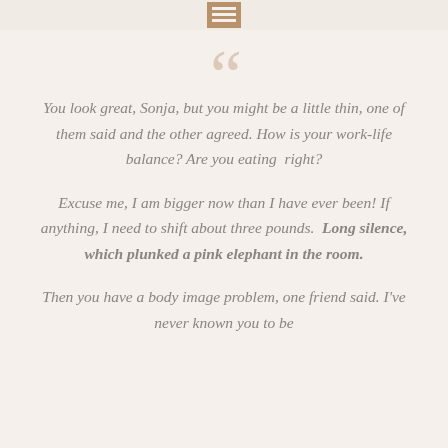[Figure (other): Hamburger menu icon in a tan/brown square at top center of page]
““ decorative large opening quotation marks
You look great, Sonja, but you might be a little thin, one of them said and the other agreed. How is your work-life balance? Are you eating  right?
Excuse me, I am bigger now than I have ever been! If anything, I need to shift about three pounds.  Long silence, which plunked a pink elephant in the room.
Then you have a body image problem, one friend said. I’ve never known you to be